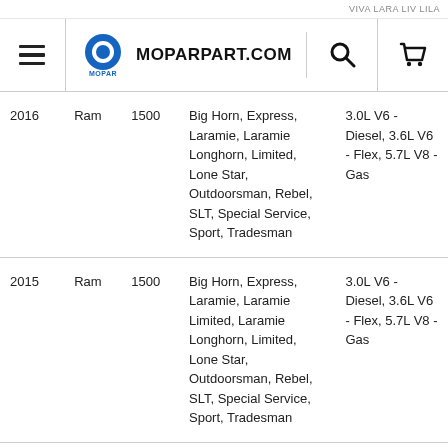MOPARPART.COM
| Year | Make | Model | Submodel | Engine |
| --- | --- | --- | --- | --- |
| 2016 | Ram | 1500 | Big Horn, Express, Laramie, Laramie Longhorn, Limited, Lone Star, Outdoorsman, Rebel, SLT, Special Service, Sport, Tradesman | 3.0L V6 - Diesel, 3.6L V6 - Flex, 5.7L V8 - Gas |
| 2015 | Ram | 1500 | Big Horn, Express, Laramie, Laramie Limited, Laramie Longhorn, Limited, Lone Star, Outdoorsman, Rebel, SLT, Special Service, Sport, Tradesman | 3.0L V6 - Diesel, 3.6L V6 - Flex, 5.7L V8 - Gas |
| 2015 | Ram | 2500 | Big Horn, Laramie, Laramie Limited, Laramie Longhorn, Lone Star, | 5.7L V8 - CNG, 5.7L V8 - Gas, 6.4L V8 - |